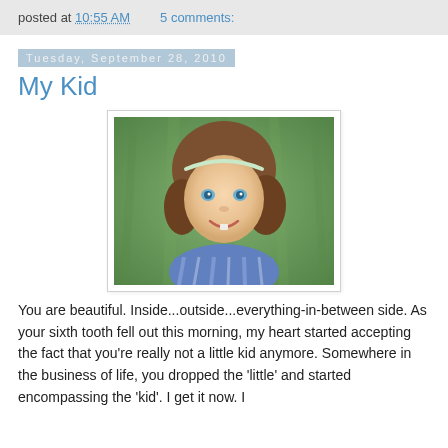posted at 10:55 AM    5 comments:
Tuesday, September 28, 2010
My Kid
[Figure (photo): A young girl with curly brown hair and a headband, smiling, wearing a blue striped top, photographed outdoors against a green grass background.]
You are beautiful. Inside...outside...everything-in-between side. As your sixth tooth fell out this morning, my heart started accepting the fact that you're really not a little kid anymore. Somewhere in the business of life, you dropped the 'little' and started encompassing the 'kid'. I get it now. I